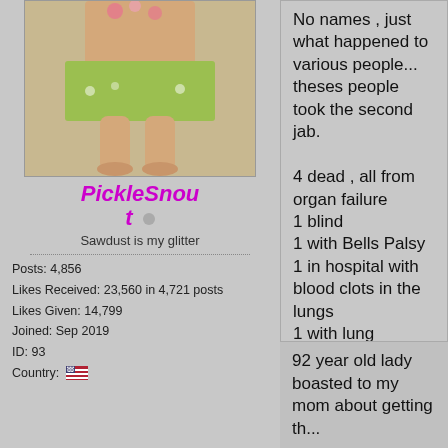[Figure (photo): Profile photo showing lower legs/feet of a person wearing a yellow-green outfit]
PickleSnout
Sawdust is my glitter
Posts: 4,856
Likes Received: 23,560 in 4,721 posts
Likes Given: 14,799
Joined: Sep 2019
ID: 93
Country: [US flag]
No names , just what happened to various people... theses people took the second jab.

4 dead , all from organ failure
1 blind
1 with Bells Palsy
1 in hospital with blood clots in the lungs
1 with lung problems , had scans , awaiting results.
1 person who I have not seen since the 2nd jab and not heard from since.
1 with early onset dementia

many others with  " a cough " that will not go.

I have been taking Sweet Annie as a protection as a natural form of Ivermectin , so far so good.

As for the others in my area , there are maybe 20 people who share my beliefs , the rest either openly boast about getting t...

   I am staying positive , but only time will tell.
92 year old lady boasted to my mom about getting th...